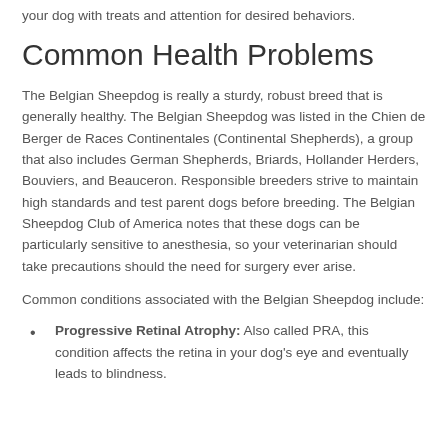your dog with treats and attention for desired behaviors.
Common Health Problems
The Belgian Sheepdog is really a sturdy, robust breed that is generally healthy. The Belgian Sheepdog was listed in the Chien de Berger de Races Continentales (Continental Shepherds), a group that also includes German Shepherds, Briards, Hollander Herders, Bouviers, and Beauceron. Responsible breeders strive to maintain high standards and test parent dogs before breeding. The Belgian Sheepdog Club of America notes that these dogs can be particularly sensitive to anesthesia, so your veterinarian should take precautions should the need for surgery ever arise.
Common conditions associated with the Belgian Sheepdog include:
Progressive Retinal Atrophy: Also called PRA, this condition affects the retina in your dog's eye and eventually leads to blindness.